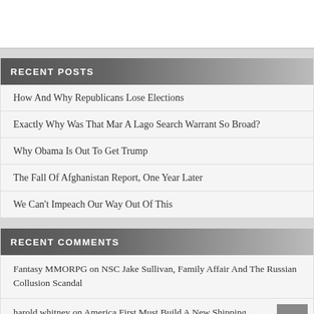RECENT POSTS
How And Why Republicans Lose Elections
Exactly Why Was That Mar A Lago Search Warrant So Broad?
Why Obama Is Out To Get Trump
The Fall Of Afghanistan Report, One Year Later
We Can't Impeach Our Way Out Of This
RECENT COMMENTS
Fantasy MMORPG on NSC Jake Sullivan, Family Affair And The Russian Collusion Scandal
harold whitney on America First Must Build A New Shipping Canal For The Supply Chain